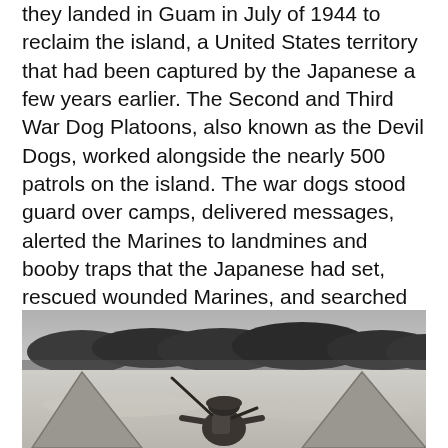they landed in Guam in July of 1944 to reclaim the island, a United States territory that had been captured by the Japanese a few years earlier. The Second and Third War Dog Platoons, also known as the Devil Dogs, worked alongside the nearly 500 patrols on the island. The war dogs stood guard over camps, delivered messages, alerted the Marines to landmines and booby traps that the Japanese had set, rescued wounded Marines, and searched through caves looking for Japanese soldiers and military supplies. Their work was vital to the war effort.
[Figure (photo): Black and white photograph of a soldier in helmet with a rifle, crouched between two tent-like canvas shelters on a sandy beach or open ground, with trees and landscape visible in the background.]